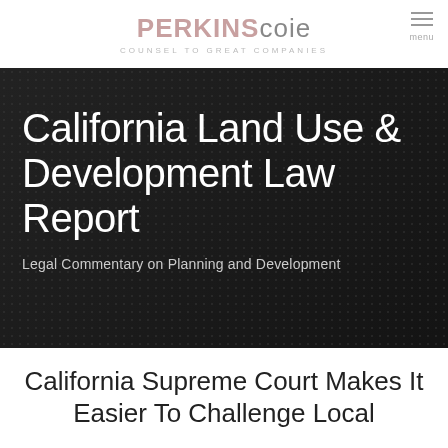PERKINS Coie — COUNSEL TO GREAT COMPANIES — menu
[Figure (illustration): Dark banner with dot-pattern background containing the California Land Use & Development Law Report title and subtitle 'Legal Commentary on Planning and Development']
California Land Use & Development Law Report
Legal Commentary on Planning and Development
California Supreme Court Makes It Easier To Challenge Local